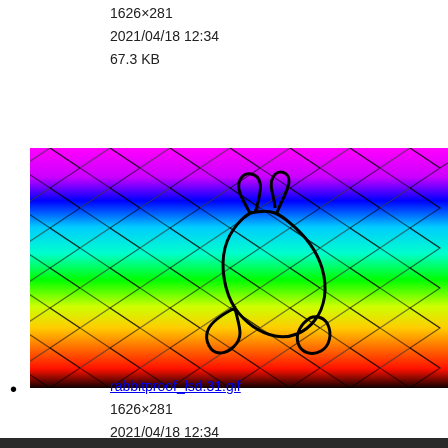1626×281
2021/04/18 12:34
67.3 KB
[Figure (photo): Rainbow gradient background image with a chainlink fence pattern overlay and a rabbit silhouette outline in the center. Colors transition from black at bottom, red, orange, yellow, green, cyan, blue, purple, magenta at top.]
rabbitproof_lsd.31.gif
1626×281
2021/04/18 12:34
66.4 KB